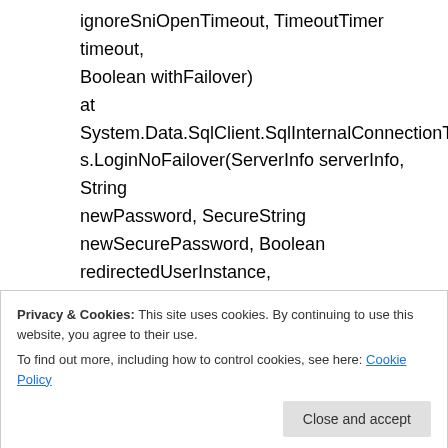ignoreSniOpenTimeout, TimeoutTimer timeout, Boolean withFailover)
at System.Data.SqlClient.SqlInternalConnectionTds.LoginNoFailover(ServerInfo serverInfo, String newPassword, SecureString newSecurePassword, Boolean redirectedUserInstance, SqlConnectionString connectionOptions, SqlCredential credential, TimeoutTimer timeout)
Privacy & Cookies: This site uses cookies. By continuing to use this website, you agree to their use.
To find out more, including how to control cookies, see here: Cookie Policy
SecureString newSecurePassword, Boolean